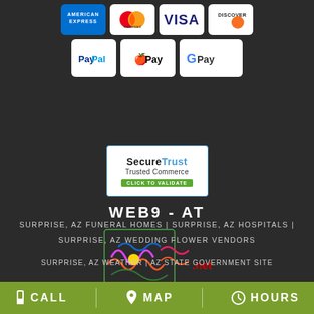[Figure (logo): Payment method icons: American Express, Mastercard, Visa, Discover, PayPal, Apple Pay, Google Pay]
[Figure (logo): SecureTrust Trusted Commerce badge with CLICK TO VALIDATE green bar]
WEB9 - AT
[Figure (logo): Colorful musical note / art logo with '.net' text]
SURPRISE, AZ FUNERAL HOMES | SURPRISE, AZ HOSPITALS | SURPRISE, AZ WEDDING FLOWER VENDORS
SURPRISE, AZ WEATHER | AZ STATE GOVERNMENT SITE
CALL   MAP   HOURS